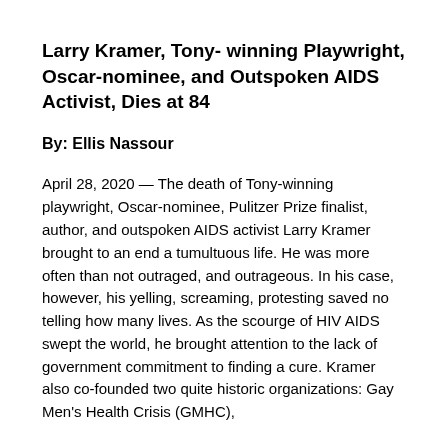Larry Kramer, Tony- winning Playwright, Oscar-nominee, and Outspoken AIDS Activist, Dies at 84
By: Ellis Nassour
April 28, 2020 — The death of Tony-winning playwright, Oscar-nominee, Pulitzer Prize finalist, author, and outspoken AIDS activist Larry Kramer brought to an end a tumultuous life. He was more often than not outraged, and outrageous. In his case, however, his yelling, screaming, protesting saved no telling how many lives. As the scourge of HIV AIDS swept the world, he brought attention to the lack of government commitment to finding a cure. Kramer also co-founded two quite historic organizations: Gay Men's Health Crisis (GMHC),